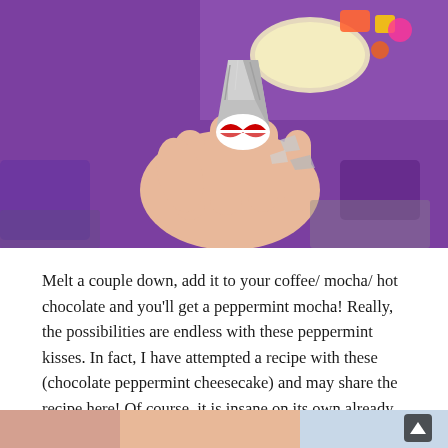[Figure (photo): A hand holding a partially unwrapped Hershey's Peppermint Kiss candy with red and white swirl pattern visible, against a blurred purple background with colorful packaging.]
Melt a couple down, add it to your coffee/ mocha/ hot chocolate and you'll get a peppermint mocha! Really, the possibilities are endless with these peppermint kisses. In fact, I have attempted a recipe with these (chocolate peppermint cheesecake) and may share the recipe here! Of course, it is insane on its own already.
[Figure (photo): Bottom portion of another photo, partially visible at the bottom edge of the page.]